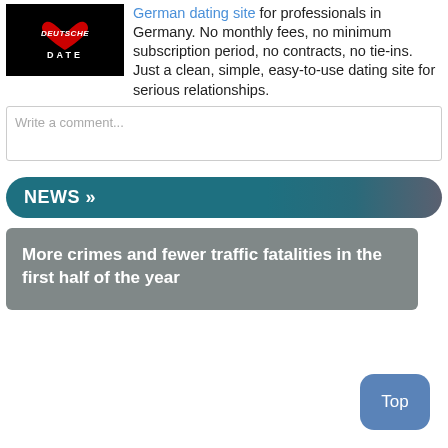[Figure (logo): Deutsche Date logo: black background with red heart and white text DEUTSCHE DATE]
German dating site for professionals in Germany. No monthly fees, no minimum subscription period, no contracts, no tie-ins. Just a clean, simple, easy-to-use dating site for serious relationships.
Write a comment...
NEWS »
More crimes and fewer traffic fatalities in the first half of the year